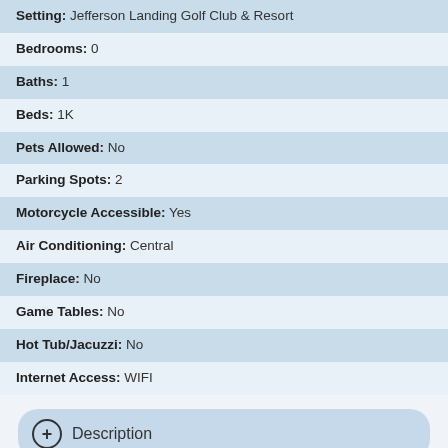Setting: Jefferson Landing Golf Club & Resort
Bedrooms: 0
Baths: 1
Beds: 1K
Pets Allowed: No
Parking Spots: 2
Motorcycle Accessible: Yes
Air Conditioning: Central
Fireplace: No
Game Tables: No
Hot Tub/Jacuzzi: No
Internet Access: WIFI
Description
Amenities
Add Ons